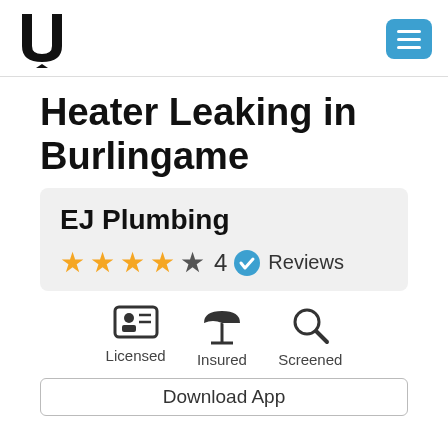U [logo] [menu button]
Heater Leaking in Burlingame
EJ Plumbing
★★★☆☆ 4 ✓ Reviews
Licensed  Insured  Screened
Download App